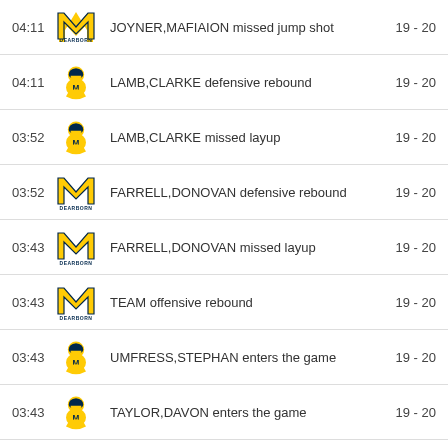| Time | Team | Action | Score |
| --- | --- | --- | --- |
| 04:11 | Michigan Dearborn (M) | JOYNER,MAFIAION missed jump shot | 19 - 20 |
| 04:11 | Opposing team (knight) | LAMB,CLARKE defensive rebound | 19 - 20 |
| 03:52 | Opposing team (knight) | LAMB,CLARKE missed layup | 19 - 20 |
| 03:52 | Michigan Dearborn (M) | FARRELL,DONOVAN defensive rebound | 19 - 20 |
| 03:43 | Michigan Dearborn (M) | FARRELL,DONOVAN missed layup | 19 - 20 |
| 03:43 | Michigan Dearborn (M) | TEAM offensive rebound | 19 - 20 |
| 03:43 | Opposing team (knight) | UMFRESS,STEPHAN enters the game | 19 - 20 |
| 03:43 | Opposing team (knight) | TAYLOR,DAVON enters the game | 19 - 20 |
| 03:43 | Opposing team (knight) | LAMB,CLARKE goes to the bench | 19 - 20 |